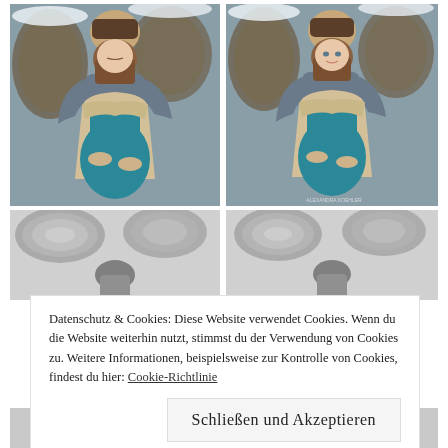[Figure (photo): Two side-by-side photos of a couple embracing outdoors in snowy setting. Woman is pregnant wearing teal top and beige cardigan; man behind her in grey sweater. Left photo: woman looking down, smiling. Right photo: both looking forward.]
[Figure (photo): Partial view of two black-and-white photos below the main couple photos, partially obscured by cookie notice overlay. Appears to show a similar outdoor winter scene.]
Datenschutz & Cookies: Diese Website verwendet Cookies. Wenn du die Website weiterhin nutzt, stimmst du der Verwendung von Cookies zu. Weitere Informationen, beispielsweise zur Kontrolle von Cookies, findest du hier: Cookie-Richtlinie
Schließen und Akzeptieren